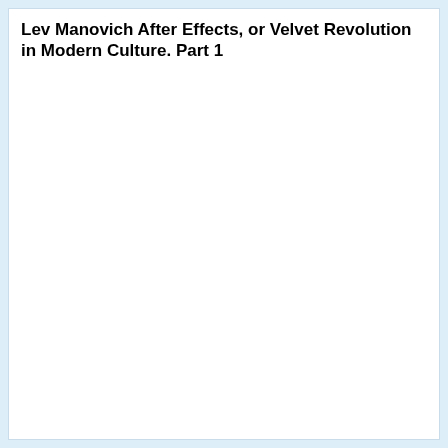Lev Manovich After Effects, or Velvet Revolution in Modern Culture. Part 1